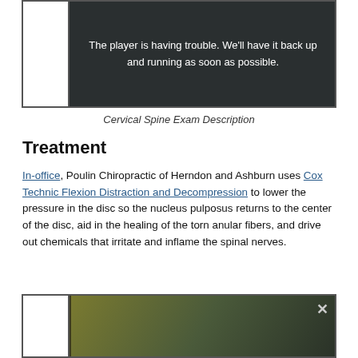[Figure (screenshot): Video player showing error message: 'The player is having trouble. We'll have it back up and running as soon as possible.']
Cervical Spine Exam Description
Treatment
In-office, Poulin Chiropractic of Herndon and Ashburn uses Cox Technic Flexion Distraction and Decompression to lower the pressure in the disc so the nucleus pulposus returns to the center of the disc, aid in the healing of the torn anular fibers, and drive out chemicals that irritate and inflame the spinal nerves.
[Figure (screenshot): Video player thumbnail showing a chiropractic treatment scene with yellowish-green background tones.]